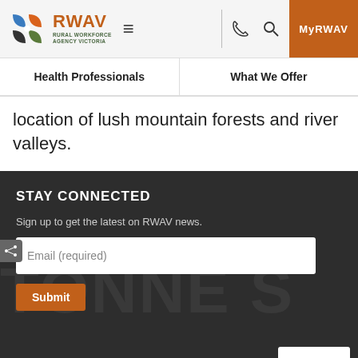[Figure (logo): RWAV Rural Workforce Agency Victoria logo with colorful pinwheel icon]
Health Professionals | What We Offer
location of lush mountain forests and river valleys.
STAY CONNECTED
Sign up to get the latest on RWAV news.
Email (required)
Submit